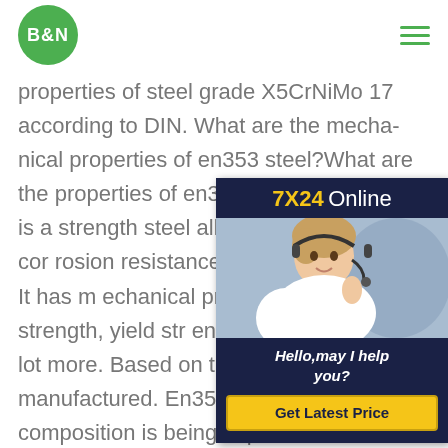B&N logo and navigation menu
properties of steel grade X5CrNiMo 17 according to DIN. What are the mechanical properties of en353 steel?What are the properties of en353 steel?EN353 bar is a strength steel alloy which has high corrosion resistance and ductility power. It has mechanical properties like tensile strength, yield strength, elongation and lot more. Based on this it is manufactured. En353 chemical composition is being explained and based on that the product is manufactured.En353 Round Bar, En 353 Alloy Steel Bar, Tool Steel En353 Rods, Hex Bar
[Figure (other): 7X24 Online chat widget with customer service representative photo and 'Hello, may I help you?' message and 'Get Latest Price' button]